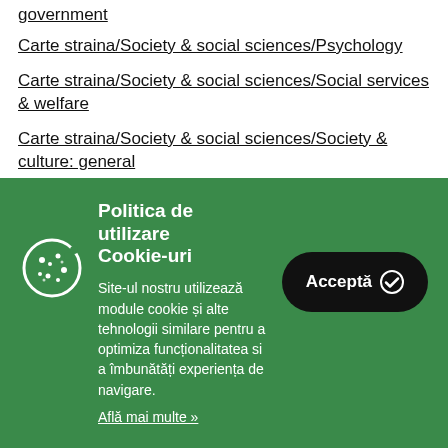government
Carte straina/Society & social sciences/Psychology
Carte straina/Society & social sciences/Social services & welfare
Carte straina/Society & social sciences/Society & culture: general
Carte straina/Society & social sciences/Sociology &
[Figure (other): Cookie consent banner with green background, cookie icon, title 'Politica de utilizare Cookie-uri', body text about cookies, 'Afla mai multe' link, and black 'Accepta' button with checkmark]
Politica de utilizare Cookie-uri
Site-ul nostru utilizează module cookie și alte tehnologii similare pentru a optimiza funcționalitatea si a îmbunătăți experiența de navigare.
Află mai multe »